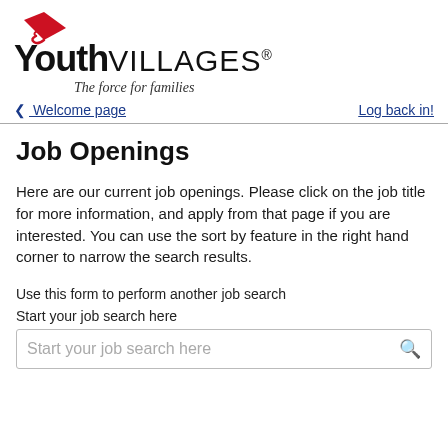[Figure (logo): Youth Villages logo with red kite graphic, bold 'Youth' and 'VILLAGES®' text, and italic tagline 'The force for families']
< Welcome page    Log back in!
Job Openings
Here are our current job openings. Please click on the job title for more information, and apply from that page if you are interested. You can use the sort by feature in the right hand corner to narrow the search results.
Use this form to perform another job search
Start your job search here
Start your job search here (search input placeholder)